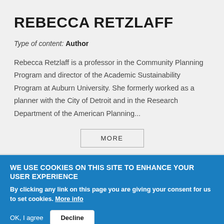REBECCA RETZLAFF
Type of content: Author
Rebecca Retzlaff is a professor in the Community Planning Program and director of the Academic Sustainability Program at Auburn University. She formerly worked as a planner with the City of Detroit and in the Research Department of the American Planning...
MORE
WE USE COOKIES ON THIS SITE TO ENHANCE YOUR USER EXPERIENCE
By clicking any link on this page you are giving your consent for us to set cookies. More info
OK, I agree  Decline